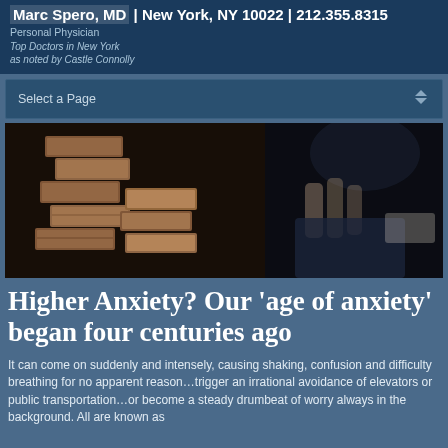Marc Spero, MD | New York, NY 10022 | 212.355.8315
Personal Physician
Top Doctors in New York as noted by Castle Connolly
Select a Page
[Figure (photo): Close-up photo of hands stacking or handling wooden Jenga-like blocks against a dark background]
Higher Anxiety? Our 'age of anxiety' began four centuries ago
It can come on suddenly and intensely, causing shaking, confusion and difficulty breathing for no apparent reason…trigger an irrational avoidance of elevators or public transportation…or become a steady drumbeat of worry always in the background. All are known as